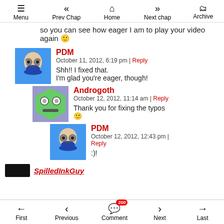Menu | Prev Chap | Home | Next chap | Archive
so you can see how eager I am to play your video again 🙂
PDM
October 11, 2012, 6:19 pm | Reply
Shh!! I fixed that.
I'm glad you're eager, though!
Androgoth
October 12, 2012, 11:14 am | Reply
Thank you for fixing the typos 🙂
PDM
October 12, 2012, 12:43 pm | Reply
:)!
SpilledInkGuy
First | Previous | Comment 200 | Next | Last